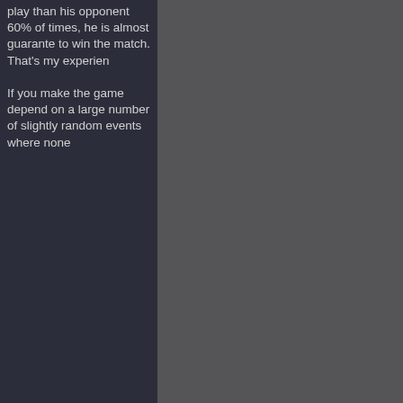play than his opponent 60% of times, he is almost guaranteed to win the match. That's my experience
If you make the game depend on a large number of slightly random events where none